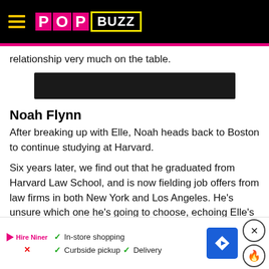PopBuzz
relationship very much on the table.
[Figure (other): Dark advertisement banner block]
Noah Flynn
After breaking up with Elle, Noah heads back to Boston to continue studying at Harvard.
Six years later, we find out that he graduated from Harvard Law School, and is now fielding job offers from law firms in both New York and Los Angeles. He's unsure which one he's going to choose, echoing Elle's college decision.
[Figure (screenshot): Advertisement overlay with In-store shopping, Curbside pickup, Delivery checklist, blue direction sign, and close button]
After [obscured] ...uave suit M...